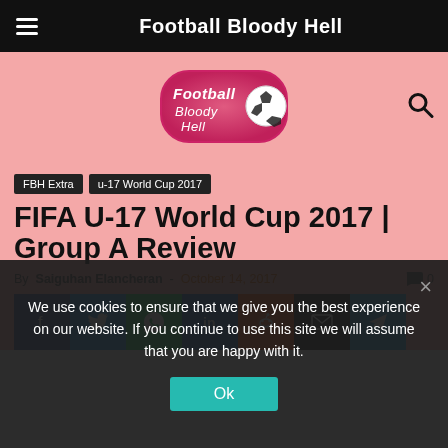Football Bloody Hell
[Figure (logo): Football Bloody Hell logo — pink circular emblem with football and cursive text]
FBH Extra
u-17 World Cup 2017
FIFA U-17 World Cup 2017 | Group A Review
By Saiguhan Elancheran - October 14, 2017  0
[Figure (infographic): Social share buttons: Facebook, Twitter, WhatsApp, LinkedIn, Reddit, Email, Telegram]
We use cookies to ensure that we give you the best experience on our website. If you continue to use this site we will assume that you are happy with it.